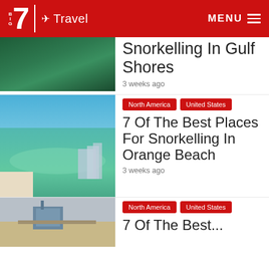Big 7 Travel | MENU
Snorkelling In Gulf Shores
3 weeks ago
North America | United States
7 Of The Best Places For Snorkelling In Orange Beach
3 weeks ago
North America | United States
7 Of The Best...